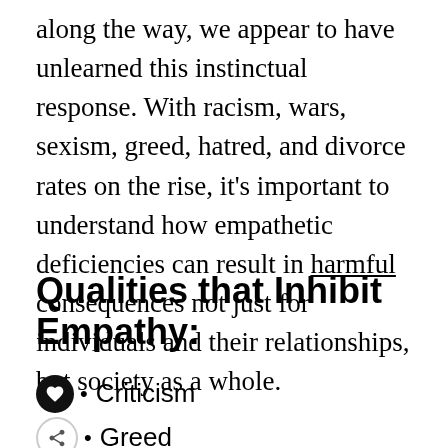along the way, we appear to have unlearned this instinctual response. With racism, wars, sexism, greed, hatred, and divorce rates on the rise, it's important to understand how empathetic deficiencies can result in harmful consequences not just for individuals and their relationships, but society as a whole.
Qualities that Inhibit Empathy:
Criticism
Greed
Judgment